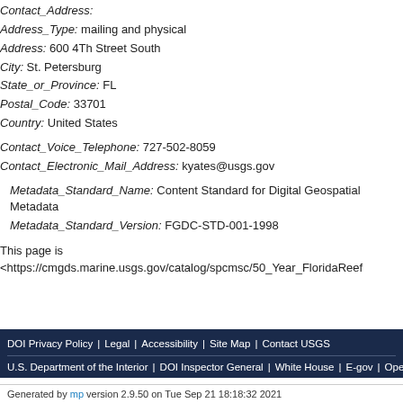Contact_Address:
Address_Type: mailing and physical
Address: 600 4Th Street South
City: St. Petersburg
State_or_Province: FL
Postal_Code: 33701
Country: United States
Contact_Voice_Telephone: 727-502-8059
Contact_Electronic_Mail_Address: kyates@usgs.gov
Metadata_Standard_Name: Content Standard for Digital Geospatial Metadata
Metadata_Standard_Version: FGDC-STD-001-1998
This page is <https://cmgds.marine.usgs.gov/catalog/spcmsc/50_Year_FloridaReef
DOI Privacy Policy | Legal | Accessibility | Site Map | Contact USGS
U.S. Department of the Interior | DOI Inspector General | White House | E-gov | Open Government | No Fear Act | FOIA
Generated by mp version 2.9.50 on Tue Sep 21 18:18:32 2021